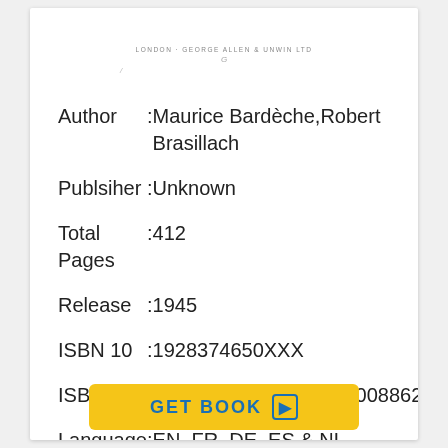LONDON: GEORGE ALLEN & UNWIN LTD
Author : Maurice Bardèche, Robert Brasillach
Publsiher : Unknown
Total Pages : 412
Release : 1945
ISBN 10 : 1928374650XXX
ISBN 13 : STANFORD:36105005008862
Language : EN, FR, DE, ES & NL